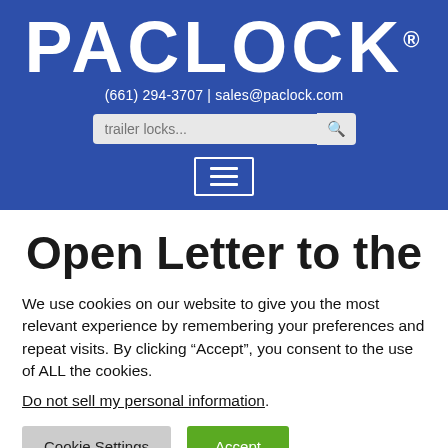[Figure (logo): PACLOCK logo in white bold text on blue background with registered trademark symbol]
(661) 294-3707 | sales@paclock.com
[Figure (screenshot): Search box with placeholder text 'trailer locks...' and search icon button]
[Figure (screenshot): Hamburger menu button with three horizontal lines, white border on blue background]
Open Letter to the
We use cookies on our website to give you the most relevant experience by remembering your preferences and repeat visits. By clicking “Accept”, you consent to the use of ALL the cookies.
Do not sell my personal information.
Cookie Settings | Accept